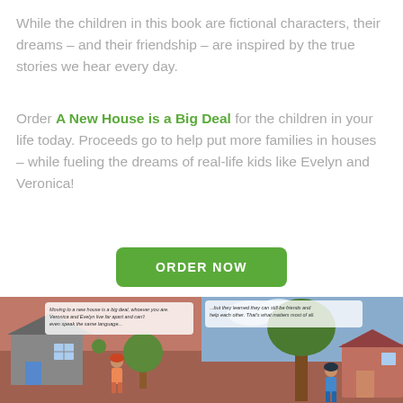While the children in this book are fictional characters, their dreams – and their friendship – are inspired by the true stories we hear every day.
Order A New House is a Big Deal for the children in your life today. Proceeds go to help put more families in houses – while fueling the dreams of real-life kids like Evelyn and Veronica!
ORDER NOW
[Figure (illustration): Two side-by-side illustrated book panels. Left panel shows a house scene with a girl and trees with text bubble: 'Moving to a new house is a big deal, whoever you are. Veronica and Evelyn live far apart and can't even speak the same language...' Right panel shows a tree and house scene with a child and text bubble: '...but they learned they can still be friends and help each other. That's what matters most of all.']